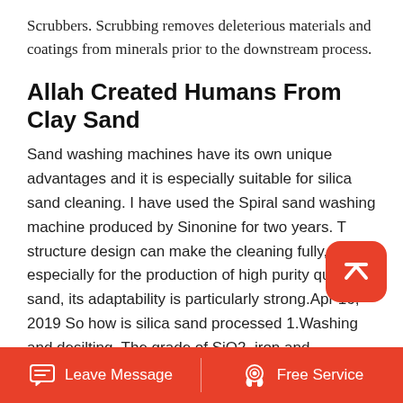Scrubbers. Scrubbing removes deleterious materials and coatings from minerals prior to the downstream process.
Allah Created Humans From Clay Sand
Sand washing machines have its own unique advantages and it is especially suitable for silica sand cleaning. I have used the Spiral sand washing machine produced by Sinonine for two years. The structure design can make the cleaning fully, especially for the production of high purity quartz sand, its adaptability is particularly strong.Apr 16, 2019 So how is silica sand processed 1.Washing and desilting. The grade of SiO2, iron and aluminum in silica sand are changes as the grain size of silica sand.This shows a particularly considerable consideration
Leave Message   Free Service